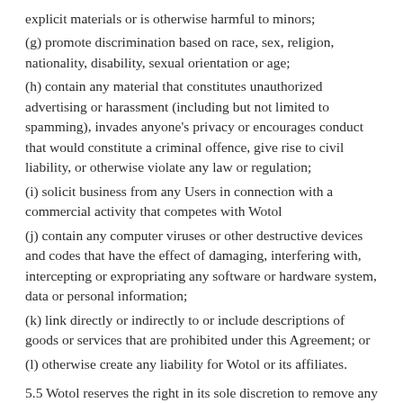explicit materials or is otherwise harmful to minors;
(g) promote discrimination based on race, sex, religion, nationality, disability, sexual orientation or age;
(h) contain any material that constitutes unauthorized advertising or harassment (including but not limited to spamming), invades anyone's privacy or encourages conduct that would constitute a criminal offence, give rise to civil liability, or otherwise violate any law or regulation;
(i) solicit business from any Users in connection with a commercial activity that competes with Wotol
(j) contain any computer viruses or other destructive devices and codes that have the effect of damaging, interfering with, intercepting or expropriating any software or hardware system, data or personal information;
(k) link directly or indirectly to or include descriptions of goods or services that are prohibited under this Agreement; or
(l) otherwise create any liability for Wotol or its affiliates.
5.5 Wotol reserves the right in its sole discretion to remove any material displayed on the Site which it reasonably believes is unlawful, could subject Wotol to liability, violates this Agreement or is otherwise found objectionable in Wotol's opinion. Wotol